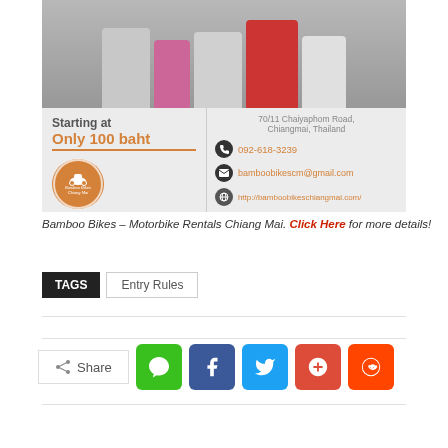[Figure (photo): Advertisement image for Bamboo Bikes motorbike rentals in Chiang Mai, Thailand. Shows motorcycles at top, pricing 'Starting at Only 100 baht', contact info including address 70/11 Chaiyaphom Road Chiangmai Thailand, phone 092-618-3239, email bamboobikescm@gmail.com, website http://bamboobikeschiangmai.com/, and a circular orange logo.]
Bamboo Bikes – Motorbike Rentals Chiang Mai. Click Here for more details!
TAGS   Entry Rules
[Figure (infographic): Share buttons row with Share label and icons for Line, Facebook, Twitter, Google+, and Reddit social networks.]